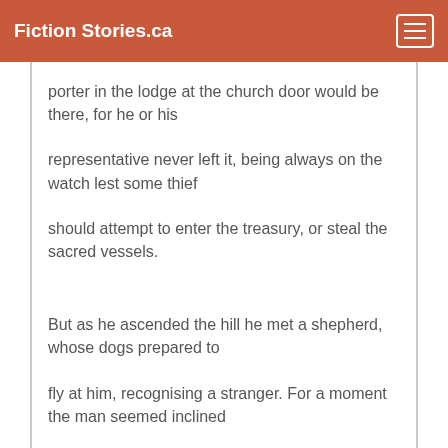Fiction Stories.ca
porter in the lodge at the church door would be there, for he or his
representative never left it, being always on the watch lest some thief
should attempt to enter the treasury, or steal the sacred vessels.
But as he ascended the hill he met a shepherd, whose dogs prepared to
fly at him, recognising a stranger. For a moment the man seemed inclined